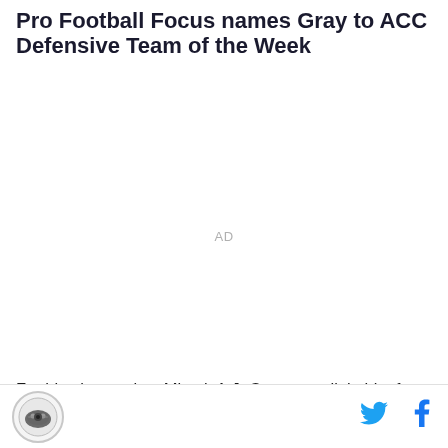Pro Football Focus names Gray to ACC Defensive Team of the Week
[Figure (other): Advertisement placeholder area with 'AD' label in gray text]
For his play against Miami, A.J. Gray got a little bit of recognition this week. The safety has been one of the
Logo icon | Twitter icon | Facebook icon